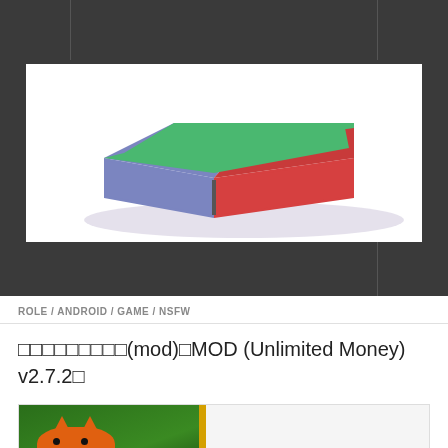[Figure (screenshot): Website header/navigation bar with dark gray background, three-column layout]
[Figure (illustration): 3D-style rounded square/pill shape with blue left side, green top, and red right side on white background — appears to be an app or website logo]
[Figure (screenshot): Dark navigation bar below hero image]
ROLE / ANDROID / GAME / NSFW
□□□□□□□□□(mod)□MOD (Unlimited Money) v2.7.2□
[Figure (screenshot): Partial screenshot of game app icon showing a fox character on green background with yellow border stripe]